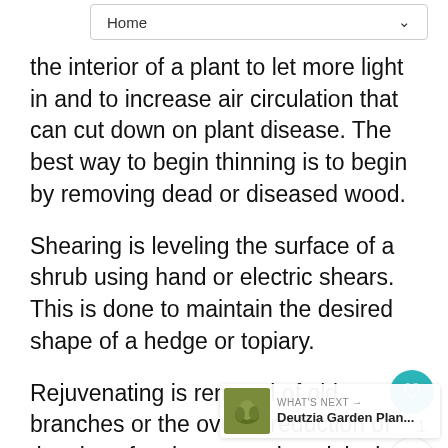Home
the interior of a plant to let more light in and to increase air circulation that can cut down on plant disease. The best way to begin thinning is to begin by removing dead or diseased wood.
Shearing is leveling the surface of a shrub using hand or electric shears. This is done to maintain the desired shape of a hedge or topiary.
Rejuvenating is removal of old branches or the overall reduction of the size of a shrub to restore its original form and size. It is recommended that you do not remove more